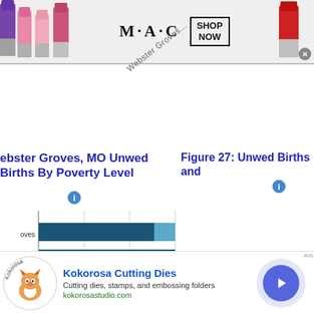[Figure (photo): MAC cosmetics advertisement banner with lipsticks on left and right, MAC logo text in center, SHOP NOW box]
Webster Groves (diagonal watermark label)
Webster Groves, MO Unwed Births By Poverty Level
Figure 27: Unwed Births and
[Figure (bar-chart): Horizontal bar chart with two rows: one for Groves and one for bury (Canterbury), showing dark teal bars with a lighter blue segment for Groves]
[Figure (pie-chart): Partial dark teal semicircle pie/donut chart for Figure 27: Unwed Births]
[Figure (photo): Kokorosa Cutting Dies advertisement with fox logo, brand name, description: Cutting dies, stamps, and embossing folders, URL: kokorosaostudio.com, arrow button]